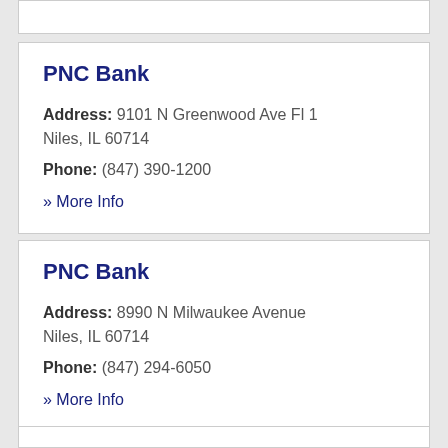PNC Bank
Address: 9101 N Greenwood Ave Fl 1 Niles, IL 60714
Phone: (847) 390-1200
» More Info
PNC Bank
Address: 8990 N Milwaukee Avenue Niles, IL 60714
Phone: (847) 294-6050
» More Info